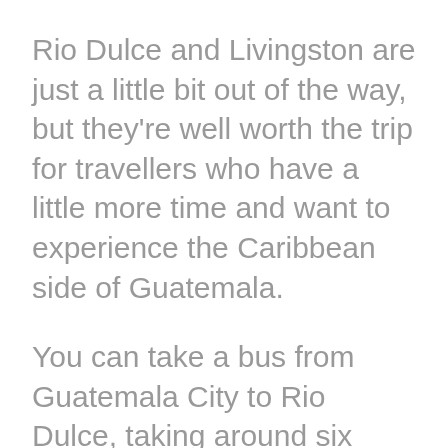Rio Dulce and Livingston are just a little bit out of the way, but they're well worth the trip for travellers who have a little more time and want to experience the Caribbean side of Guatemala.
You can take a bus from Guatemala City to Rio Dulce, taking around six hours. There are not many chicken buses around this area, but Fuente Del Norte and Litegua buses service the route.